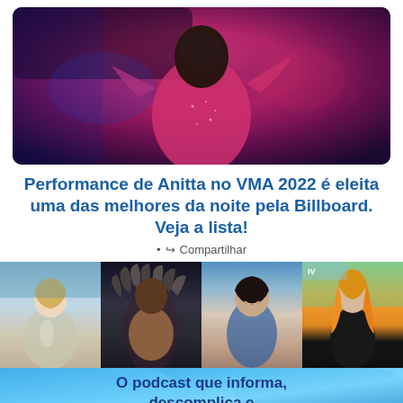[Figure (photo): Performer on stage wearing a pink/red sparkly outfit, dark background with blue and pink lighting, bending forward towards microphone]
Performance de Anitta no VMA 2022 é eleita uma das melhores da noite pela Billboard. Veja a lista!
• Compartilhar
[Figure (photo): Collage of four celebrities: Taylor Swift in silver dress, Lil Nas X in dark feathered costume, Anitta smiling in blue outfit, Avril Lavigne with orange hair in black outfit]
[Figure (infographic): Banner advertisement: O podcast que informa, descomplica e]